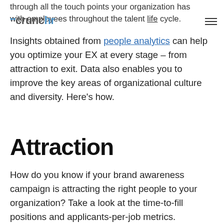through all the touch points your organization has with employees throughout the talent life cycle.
Insights obtained from people analytics can help you optimize your EX at every stage – from attraction to exit. Data also enables you to improve the key areas of organizational culture and diversity. Here's how.
Attraction
How do you know if your brand awareness campaign is attracting the right people to your organization? Take a look at the time-to-fill positions and applicants-per-job metrics.